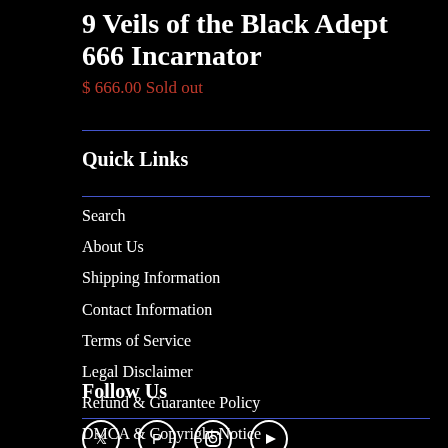9 Veils of the Black Adept 666 Incarnator
$ 666.00 Sold out
Quick Links
Search
About Us
Shipping Information
Contact Information
Terms of Service
Legal Disclaimer
Refund & Guarantee Policy
DMCA & Copyright Notice
Follow Us
[Figure (other): Social media icons: Twitter, Pinterest, Instagram, YouTube]